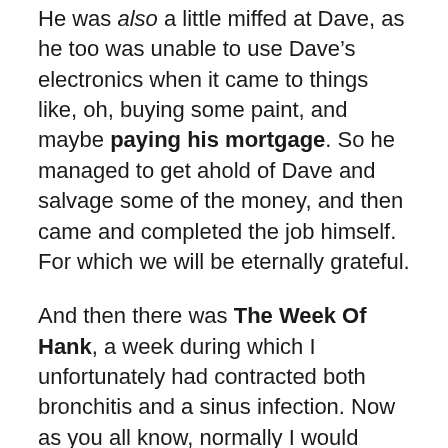He was also a little miffed at Dave, as he too was unable to use Dave’s electronics when it came to things like, oh, buying some paint, and maybe paying his mortgage. So he managed to get ahold of Dave and salvage some of the money, and then came and completed the job himself. For which we will be eternally grateful.
And then there was The Week Of Hank, a week during which I unfortunately had contracted both bronchitis and a sinus infection. Now as you all know, normally I would have spent a week like that lying prostrate on the living room floor and